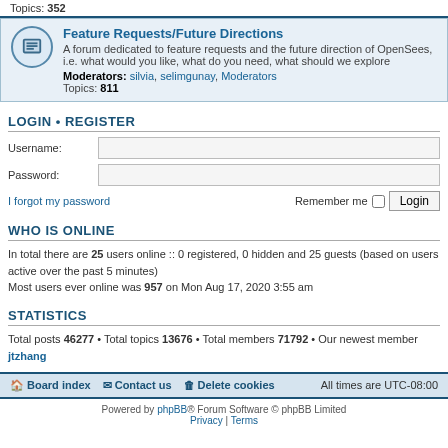Topics: 352
Feature Requests/Future Directions
A forum dedicated to feature requests and the future direction of OpenSees, i.e. what would you like, what do you need, what should we explore
Moderators: silvia, selimgunay, Moderators
Topics: 811
LOGIN • REGISTER
Username:
Password:
I forgot my password
Remember me
WHO IS ONLINE
In total there are 25 users online :: 0 registered, 0 hidden and 25 guests (based on users active over the past 5 minutes)
Most users ever online was 957 on Mon Aug 17, 2020 3:55 am
STATISTICS
Total posts 46277 • Total topics 13676 • Total members 71792 • Our newest member jtzhang
Board index   Contact us   Delete cookies   All times are UTC-08:00
Powered by phpBB® Forum Software © phpBB Limited
Privacy | Terms